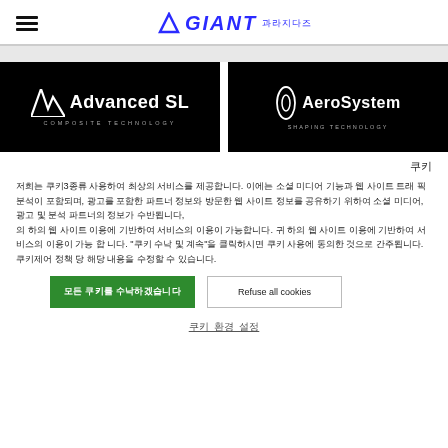GIANT (Korean text)
[Figure (logo): Advanced SL Composite Technology logo on black background]
[Figure (logo): AeroSystem Shaping Technology logo on black background]
쿠키
저희는 쿠키를 사용하여 최상의 경험을 제공합니다. 이에는 소셜 미디어 기능과 웹 사이트 트래픽 분석이 포함되며, 광고를 포함한 파트너 정보와 방문한 웹 사이트 정보를 공유하기 위하여 소셜 미디어, 광고 및 분석 파트너의 정보가 수반됩니다. 귀 하의 웹 사이트 이용에 기반하여 서비스의 이용이 가능합니다. "쿠키 수락 및 계속"을 클릭하시면 쿠키 사용에 동의한 것으로 간주됩니다. 쿠키제어 정책 당 해당 내용을 수정할 수 있습니다.
모든 쿠키를 수락하겠습니다
Refuse all cookies
쿠키 환경 설정